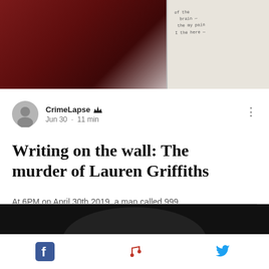[Figure (photo): Top image split: left side shows dark red/maroon fabric, right side shows a handwritten note on white/cream paper]
CrimeLapse 👑
Jun 30 · 11 min
Writing on the wall: The murder of Lauren Griffiths
At 6PM on April 30th 2019, a man called 999 and told the operator that he had killed his fiancé by mistake. Madog Rowlands went on to...
Views: 13  Comments: 0  Like
[Figure (photo): Bottom dark image strip (partially visible)]
Facebook icon · Music note icon · Twitter icon